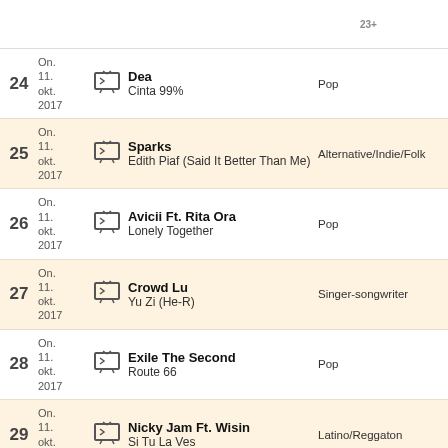| # | Date |  | Artist / Song | Genre |
| --- | --- | --- | --- | --- |
| 24 | On. 11. okt. 2017 | TV | Dea / Cinta 99% | Pop |
| 25 | On. 11. okt. 2017 | TV | Sparks / Edith Piaf (Said It Better Than Me) | Alternative/Indie/Folk |
| 26 | On. 11. okt. 2017 | TV | Avicii Ft. Rita Ora / Lonely Together | Pop |
| 27 | On. 11. okt. 2017 | TV | Crowd Lu / Yu Zi (He-R) | Singer-songwriter |
| 28 | On. 11. okt. 2017 | TV | Exile The Second / Route 66 | Pop |
| 29 | On. 11. okt. 2017 | TV | Nicky Jam Ft. Wisin / Si Tu La Ves | Latino/Reggaton |
| 30 | On. 11. okt. 2017 | TV | Ed Sheeran / Perfect | Pop |
| 31 | On. 11. okt. 2017 | TV | Emma M / Beautiful Life | Pop |
| 32 | Ti. 10. ... | icon | Donna / ... | Dance/Electronic/... |